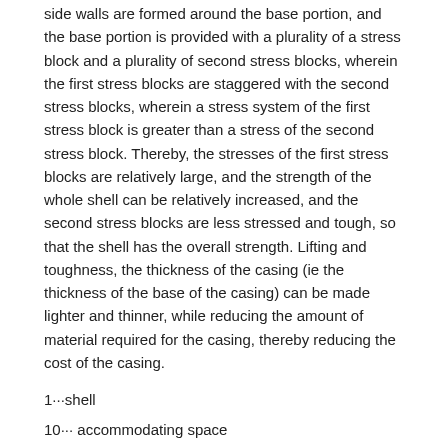side walls are formed around the base portion, and the base portion is provided with a plurality of a stress block and a plurality of second stress blocks, wherein the first stress blocks are staggered with the second stress blocks, wherein a stress system of the first stress block is greater than a stress of the second stress block. Thereby, the stresses of the first stress blocks are relatively large, and the strength of the whole shell can be relatively increased, and the second stress blocks are less stressed and tough, so that the shell has the overall strength. Lifting and toughness, the thickness of the casing (ie the thickness of the base of the casing) can be made lighter and thinner, while reducing the amount of material required for the casing, thereby reducing the cost of the casing.
1···shell
10··· accommodating space
11··· base
111···First stress block
112···Second stress block